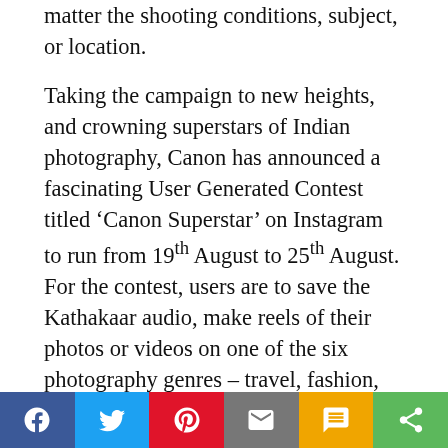matter the shooting conditions, subject, or location.
Taking the campaign to new heights, and crowning superstars of Indian photography, Canon has announced a fascinating User Generated Contest titled 'Canon Superstar' on Instagram to run from 19th August to 25th August. For the contest, users are to save the Kathakaar audio, make reels of their photos or videos on one of the six photography genres – travel, fashion, wedding, wildlife, street and food. Entries will be in the form of reels to be posted along with the #KathakaarOfLife and specifying the genre of photography. Adding a more local flavour, any of the nine language tracks can be used to create the reels. Six lucky winners across India will be announced on 31st August, crowned as the superstars and rewarded with exciting Canon merchandise.
[Figure (infographic): Social sharing bar with buttons for Facebook, Twitter, Pinterest, Email, SMS, and Share]